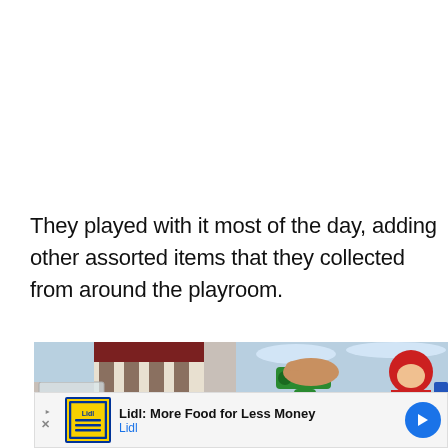They played with it most of the day, adding other assorted items that they collected from around the playroom.
[Figure (photo): Two side-by-side photos of children playing. Left photo shows a child in a striped shirt playing with a clear container. Right photo shows a child's hands holding a green toy with a red-helmeted figure nearby, against a light blue background.]
[Figure (screenshot): Advertisement banner: Lidl: More Food for Less Money. Shows Lidl logo (yellow square with blue border), ad controls (play/close), and a blue navigation arrow on the right.]